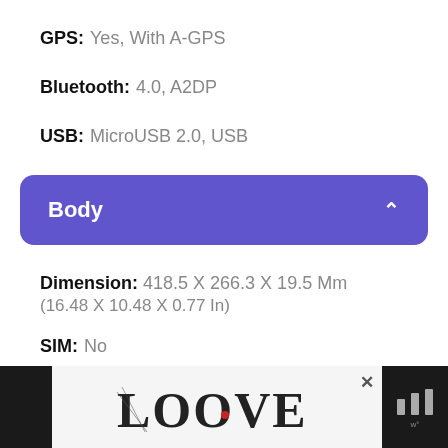GPS: Yes, With A-GPS
Bluetooth: 4.0, A2DP
USB: MicroUSB 2.0, USB
Body
Dimension: 418.5 X 266.3 X 19.5 Mm (16.48 X 10.48 X 0.77 In)
SIM: No
[Figure (other): Advertisement banner showing stylized 'LOOVE' text with decorative artwork, close button (x), and a dark side panel with app icon]